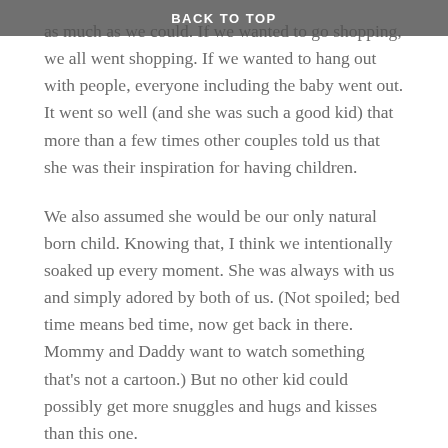BACK TO TOP
as much as we could. If we wanted to go shopping, we all went shopping. If we wanted to hang out with people, everyone including the baby went out. It went so well (and she was such a good kid) that more than a few times other couples told us that she was their inspiration for having children.
We also assumed she would be our only natural born child. Knowing that, I think we intentionally soaked up every moment. She was always with us and simply adored by both of us. (Not spoiled; bed time means bed time, now get back in there. Mommy and Daddy want to watch something that's not a cartoon.) But no other kid could possibly get more snuggles and hugs and kisses than this one.
Every new accomplishment or stage of growing up was joyful! We celebrated and embraced it all. Eating new foods, riding her bike without training wheels, talking to